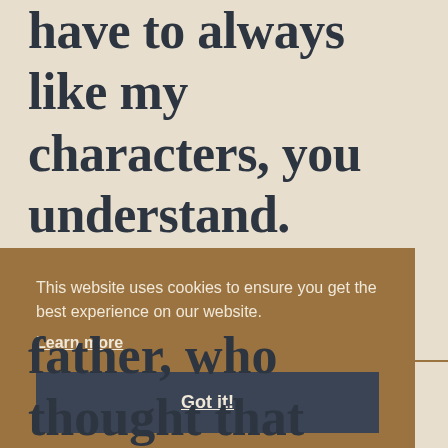have to always like my characters, you understand.
This website uses cookies to ensure you get the best experience on our website.
Learn more
Got it!
father, who thought that